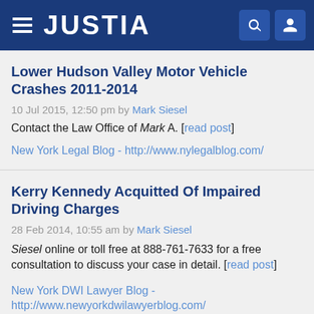JUSTIA
Lower Hudson Valley Motor Vehicle Crashes 2011-2014
10 Jul 2015, 12:50 pm by Mark Siesel
Contact the Law Office of Mark A. [read post]
New York Legal Blog - http://www.nylegalblog.com/
Kerry Kennedy Acquitted Of Impaired Driving Charges
28 Feb 2014, 10:55 am by Mark Siesel
Siesel online or toll free at 888-761-7633 for a free consultation to discuss your case in detail. [read post]
New York DWI Lawyer Blog - http://www.newyorkdwilawyerblog.com/